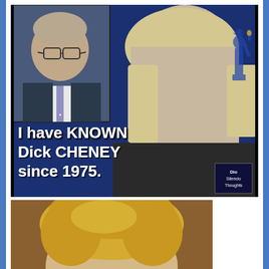[Figure (screenshot): TV screenshot showing a woman with blonde hair in the foreground and a smaller inset photo of Dick Cheney in the upper left, set against an American flag background. Text overlay reads: 'I have KNOWN Dick CHENEY since 1975.' A show logo appears in the bottom right corner.]
[Figure (photo): Partial photo of a person with blonde hair, cropped to show mostly the top of the head.]